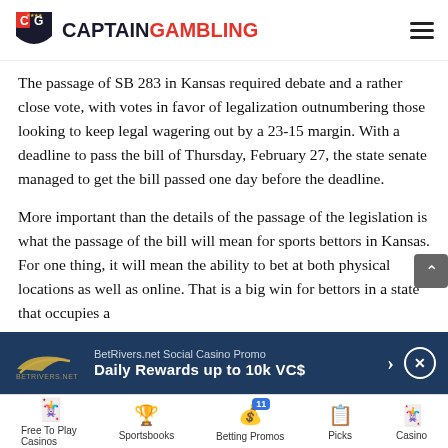CAPTAIN GAMBLING
The passage of SB 283 in Kansas required debate and a rather close vote, with votes in favor of legalization outnumbering those looking to keep legal wagering out by a 23-15 margin. With a deadline to pass the bill of Thursday, February 27, the state senate managed to get the bill passed one day before the deadline.
More important than the details of the passage of the legislation is what the passage of the bill will mean for sports bettors in Kansas. For one thing, it will mean the ability to bet at both physical locations as well as online. That is a big win for bettors in a state that occupies a
[Figure (infographic): BetRivers.net Social Casino Promo ad banner: Daily Rewards up to 10k VC$]
Free To Play Casinos | Sportsbooks | Betting Promos | Picks | Casino